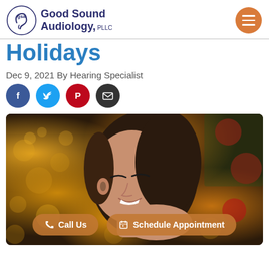Good Sound Audiology, PLLC
Holidays
Dec 9, 2021 By Hearing Specialist
[Figure (infographic): Social share icons: Facebook (blue), Twitter (light blue), Pinterest (red), Email (dark gray)]
[Figure (photo): A smiling woman with closed eyes surrounded by Christmas bokeh lights and a Christmas tree with red ornaments in the background. Two call-to-action buttons overlay the bottom: 'Call Us' and 'Schedule Appointment'.]